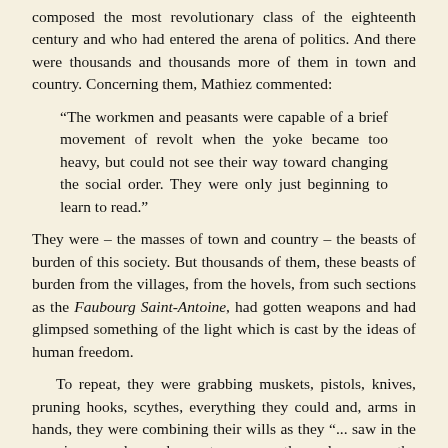composed the most revolutionary class of the eighteenth century and who had entered the arena of politics. And there were thousands and thousands more of them in town and country. Concerning them, Mathiez commented:
“The workmen and peasants were capable of a brief movement of revolt when the yoke became too heavy, but could not see their way toward changing the social order. They were only just beginning to learn to read.”
They were – the masses of town and country – the beasts of burden of this society. But thousands of them, these beasts of burden from the villages, from the hovels, from such sections as the Faubourg Saint-Antoine, had gotten weapons and had glimpsed something of the light which is cast by the ideas of human freedom.
To repeat, they were grabbing muskets, pistols, knives, pruning hooks, scythes, everything they could and, arms in hands, they were combining their wills as they “... saw in the growing anarchy a chance to revenge themselves upon the social order ...” Mathiez here further added that: “The rising was directed not only against the feudal system, but against monopolies of commodities, taxes, bad judges, all those who exploited the people and lived upon its work.”